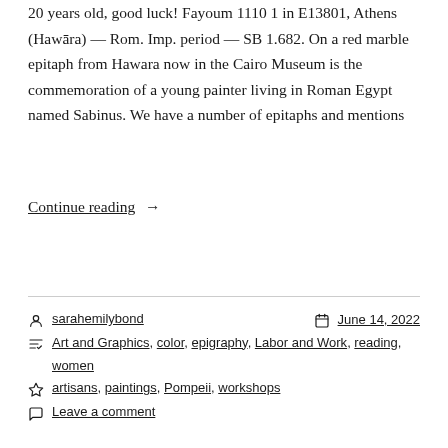20 years old, good luck! Fayoum 1110 1 in E13801, Athens (Hawāra) — Rom. Imp. period — SB 1.682. On a red marble epitaph from Hawara now in the Cairo Museum is the commemoration of a young painter living in Roman Egypt named Sabinus. We have a number of epitaphs and mentions
Continue reading →
sarahemilybond   June 14, 2022
Art and Graphics, color, epigraphy, Labor and Work, reading, women
artisans, paintings, Pompeii, workshops
Leave a comment